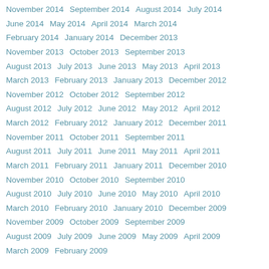November 2014   September 2014   August 2014   July 2014
June 2014   May 2014   April 2014   March 2014
February 2014   January 2014   December 2013
November 2013   October 2013   September 2013
August 2013   July 2013   June 2013   May 2013   April 2013
March 2013   February 2013   January 2013   December 2012
November 2012   October 2012   September 2012
August 2012   July 2012   June 2012   May 2012   April 2012
March 2012   February 2012   January 2012   December 2011
November 2011   October 2011   September 2011
August 2011   July 2011   June 2011   May 2011   April 2011
March 2011   February 2011   January 2011   December 2010
November 2010   October 2010   September 2010
August 2010   July 2010   June 2010   May 2010   April 2010
March 2010   February 2010   January 2010   December 2009
November 2009   October 2009   September 2009
August 2009   July 2009   June 2009   May 2009   April 2009
March 2009   February 2009